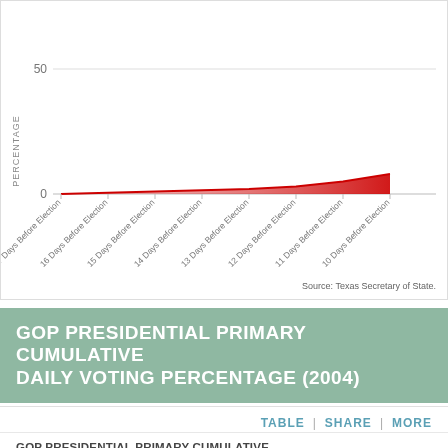[Figure (area-chart): ]
Source: Texas Secretary of State.
GOP PRESIDENTIAL PRIMARY CUMULATIVE DAILY VOTING PERCENTAGE (2004)
TABLE | SHARE | MORE
GOP PRESIDENTIAL PRIMARY CUMULATIVE